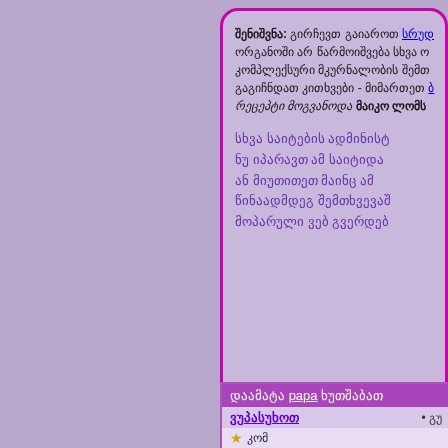შენიშვნა: გირჩევთ გაიაროთ სრულ... ორგანოში არ წარმოიშვება სხვა ო... კომპლექსური მკურნალობის შემთ... გაგიჩნდათ კითხვები - მიმართეთ... რეცეპტი მოგვანოდა მაიკო ლომს...
სხვა საიტების ადმინისტ... ნუ იპარავთ ამ საიტიდა... ან მიუთითეთ მაინც ამ... წინაადმდეგ შემთხვევაშ... მოპარულივებ გვერდებ...
დაამატა papa ხუთშაბათ...
ვუპასუხოთ • გუ...
★ კომ...